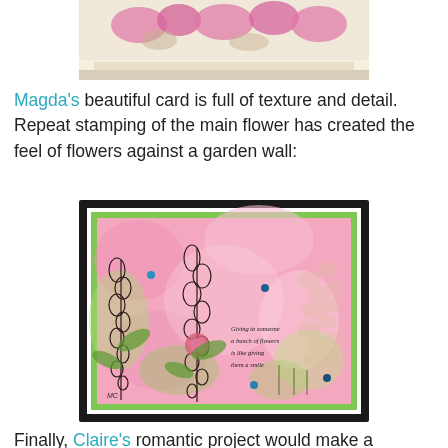[Figure (photo): Top portion of a handmade card showing pink floral stamping pattern on a cream background, partially cropped at top of page]
Magda's beautiful card is full of texture and detail. Repeat stamping of the main flower has created the feel of flowers against a garden wall:
[Figure (photo): A handmade card with a pink watercolor background featuring stamped flowers (foxgloves/tall flowers) in green and dark ink, small blue gem embellishments, green mat border, black frame, and a handwritten sentiment in the center right area reading 'Giving to someone a bunch of flowers is like giving them a smile']
Finally, Claire's romantic project would make a beautiful Valentine or Anniversary card, she has created a very elegant card, especially with the added gem detail: